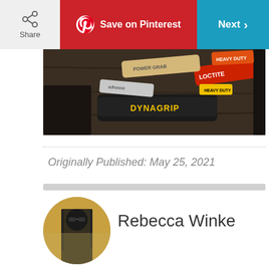Share | Save on Pinterest | Next
[Figure (photo): Photo of glue tubes including Loctite and DynaGrip adhesive products on a wooden surface]
Originally Published: May 25, 2021
[Figure (photo): Circular avatar photo of Rebecca Winke wearing sunglasses]
Rebecca Winke
Rebecca Winke moved to Italy from Chicago in 1993 and shortly thereafter took a deep dive into country living by renovating a sprawling medieval stone farmhouse and running it as a B&B for 20 years. Today, she spends her time writing about travel, culture, and food (it's Italy, after all!) for publications like The Telegraph